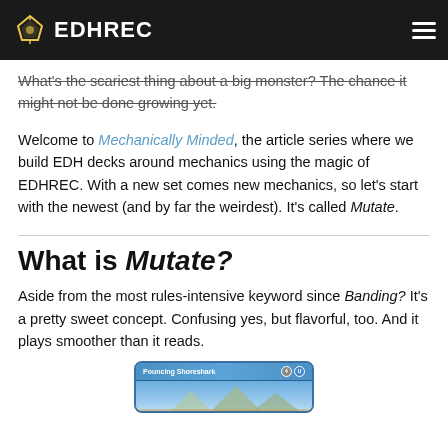EDHREC
What's the scariest thing about a big monster? The chance it might not be done growing yet.
Welcome to Mechanically Minded, the article series where we build EDH decks around mechanics using the magic of EDHREC. With a new set comes new mechanics, so let's start with the newest (and by far the weirdest). It's called Mutate.
What is Mutate?
Aside from the most rules-intensive keyword since Banding? It's a pretty sweet concept. Confusing yes, but flavorful, too. And it plays smoother than it reads.
[Figure (photo): Magic: The Gathering card image showing 'Pouncing Shoreshark' with a blue card frame, mana cost 4U, and card art showing rocky formations against a blue sky]